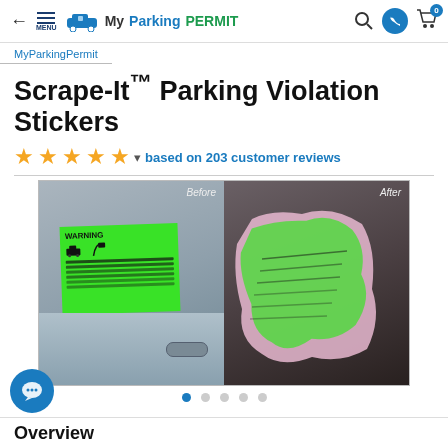MyParkingPermit — navigation header with back arrow, menu, logo, search, phone, cart (0)
MyParkingPermit
Scrape-It™ Parking Violation Stickers
★★★★★ ▾  based on 203 customer reviews
[Figure (photo): Before and After comparison of a green parking violation sticker on a car window. Left panel labeled 'Before' shows a bright green WARNING sticker on a car window. Right panel labeled 'After' shows the sticker partially scraped/torn off.]
Overview